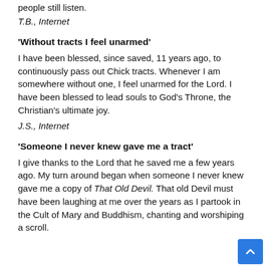people still listen.
T.B., Internet
'Without tracts I feel unarmed'
I have been blessed, since saved, 11 years ago, to continuously pass out Chick tracts. Whenever I am somewhere without one, I feel unarmed for the Lord. I have been blessed to lead souls to God's Throne, the Christian's ultimate joy.
J.S., Internet
'Someone I never knew gave me a tract'
I give thanks to the Lord that he saved me a few years ago. My turn around began when someone I never knew gave me a copy of That Old Devil. That old Devil must have been laughing at me over the years as I partook in the Cult of Mary and Buddhism, chanting and worshiping a scroll.